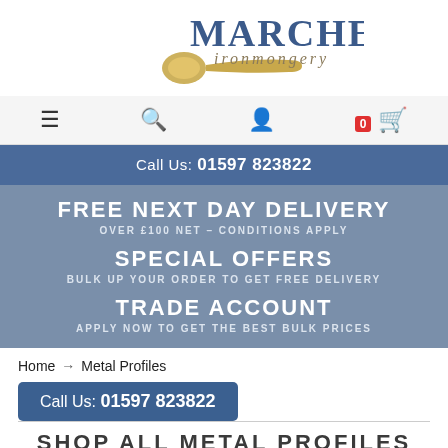[Figure (logo): Marches Ironmongery logo with door handle graphic, company name in blue serif font and ironmongery in italic tan font]
[Figure (screenshot): Navigation bar with hamburger menu, search, user account, and cart icons (cart shows badge 0)]
Call Us: 01597 823822
FREE NEXT DAY DELIVERY
OVER £100 NET – CONDITIONS APPLY
SPECIAL OFFERS
BULK UP YOUR ORDER TO GET FREE DELIVERY
TRADE ACCOUNT
APPLY NOW TO GET THE BEST BULK PRICES
Home → Metal Profiles
Call Us: 01597 823822
SHOP ALL METAL PROFILES